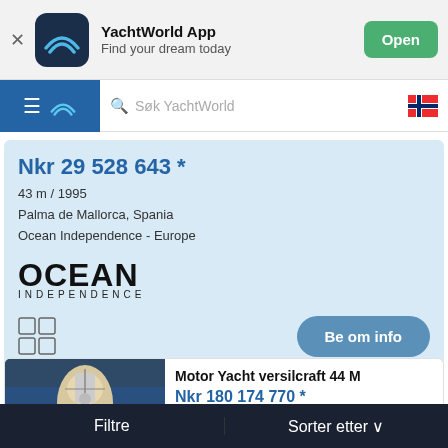[Figure (screenshot): YachtWorld app banner with logo, app name, tagline, and Open button]
[Figure (screenshot): YachtWorld navigation bar with hamburger menu, logo, search box 'Søk YachtWorld', and Norwegian flag]
Nkr 29 528 643 *
43 m / 1995
Palma de Mallorca, Spania
Ocean Independence - Europe
[Figure (logo): OCEAN INDEPENDENCE logo in black bold text]
Be om info
Motor Yacht versilcraft 44 M
Nkr 180 174 770 *
42 m / 2022
, Italia
Abvacht
Filtre
Sorter etter ∨